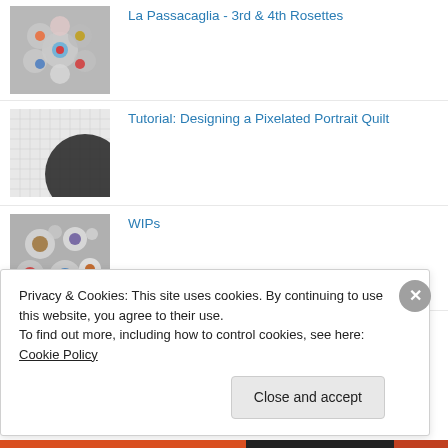La Passacaglia - 3rd & 4th Rosettes
Tutorial: Designing a Pixelated Portrait Quilt
WIPs
Privacy & Cookies: This site uses cookies. By continuing to use this website, you agree to their use.
To find out more, including how to control cookies, see here: Cookie Policy
Close and accept